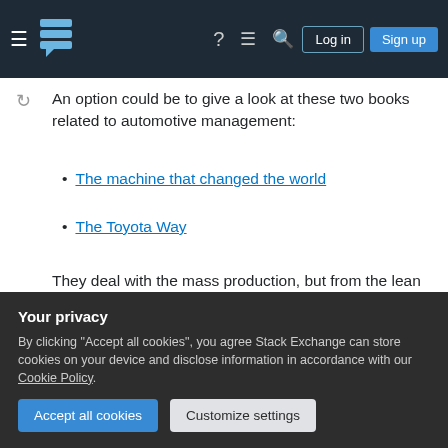Stack Exchange navigation bar with Log in and Sign up buttons
An option could be to give a look at these two books related to automotive management:
The machine that changed the world
The Toyota Way
They deal with the mass production, but from the lean production point of view, so maybe they can address some of the issues you're rising (e.g. unrealistic deadlines, communication problems). They also treat the design and building of a prototype (like the Prius).
Your privacy
By clicking "Accept all cookies", you agree Stack Exchange can store cookies on your device and disclose information in accordance with our Cookie Policy.
[Accept all cookies] [Customize settings]